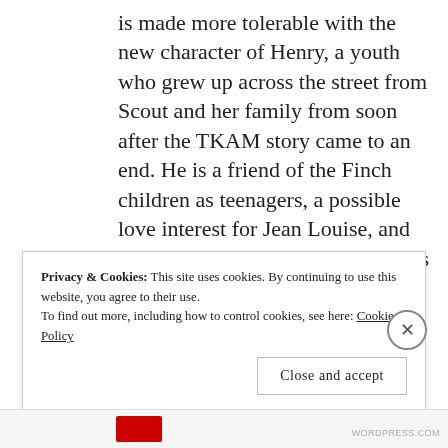is made more tolerable with the new character of Henry, a youth who grew up across the street from Scout and her family from soon after the TKAM story came to an end. He is a friend of the Finch children as teenagers, a possible love interest for Jean Louise, and someone Atticus can take under his wing to possibly take over the law practise one day.
Privacy & Cookies: This site uses cookies. By continuing to use this website, you agree to their use.
To find out more, including how to control cookies, see here: Cookie Policy
Close and accept